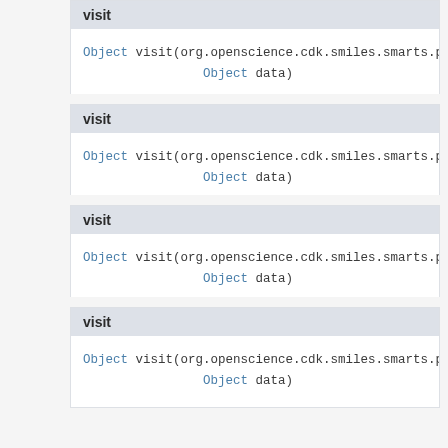visit
Object visit(org.openscience.cdk.smiles.smarts.pa Object data)
visit
Object visit(org.openscience.cdk.smiles.smarts.pa Object data)
visit
Object visit(org.openscience.cdk.smiles.smarts.pa Object data)
visit
Object visit(org.openscience.cdk.smiles.smarts.pa Object data)